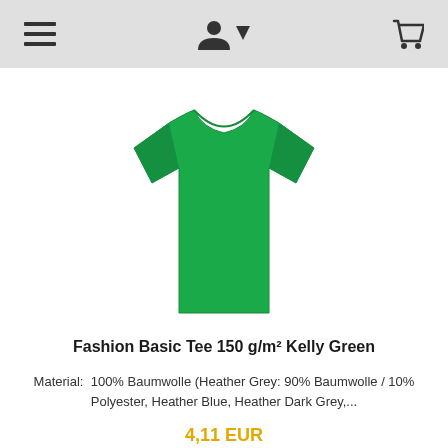≡ 👤↓ 🛒
[Figure (photo): Green fashion basic t-shirt product photo on white background]
Fashion Basic Tee 150 g/m² Kelly Green
Material:  100% Baumwolle (Heather Grey: 90% Baumwolle / 10% Polyester, Heather Blue, Heather Dark Grey,...
4,11 EUR